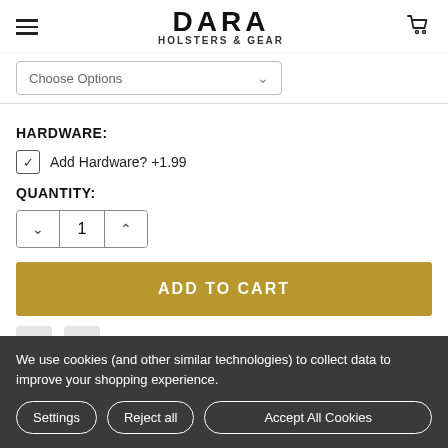DARA HOLSTERS & GEAR
Choose Options
HARDWARE:
Add Hardware? +1.99
QUANTITY:
1
ADD TO CART
We use cookies (and other similar technologies) to collect data to improve your shopping experience.
Settings
Reject all
Accept All Cookies